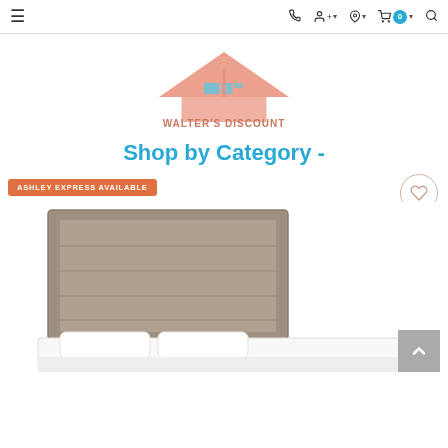Navigation bar with hamburger menu, phone, account, location, cart (0), and search icons
[Figure (logo): Walter's Discount furniture store logo with stylized house/roof shape in salmon/pink with blue accent rectangles and text WALTER'S DISCOUNT below]
Shop by Category -
ASHLEY EXPRESS AVAILABLE
[Figure (photo): Bed with grey/taupe wooden panel headboard and white bedding, shown partially at bottom of page]